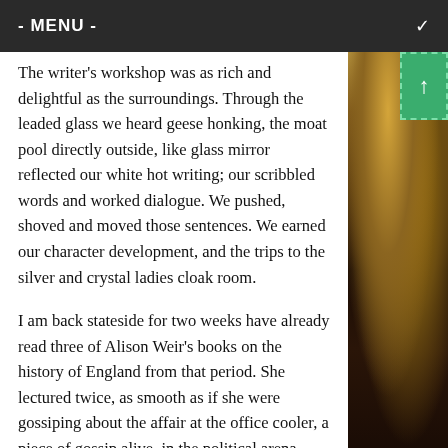- MENU -
The writer's workshop was as rich and delightful as the surroundings. Through the leaded glass we heard geese honking, the moat pool directly outside, like glass mirror reflected our white hot writing; our scribbled words and worked dialogue. We pushed, shoved and moved those sentences. We earned our character development, and the trips to the silver and crystal ladies cloak room.
I am back stateside for two weeks have already read three of Alison Weir's books on the history of England from that period. She lectured twice, as smooth as if she were gossiping about the affair at the office cooler, a piece of gossip alive, in the political arena three hundred years later.
In the castle I sense the treachery, the sensuality and shrewish nature of Anne Boleyn. When I am reading Ms. Weir's pages I cast my memory to the small upstairs room that had been Anne's during her youth, a room she most likely shared with her sister.
[Figure (photo): Partial view of an antique or historical interior scene with warm golden and dark brown tones, visible on the right side of the page.]